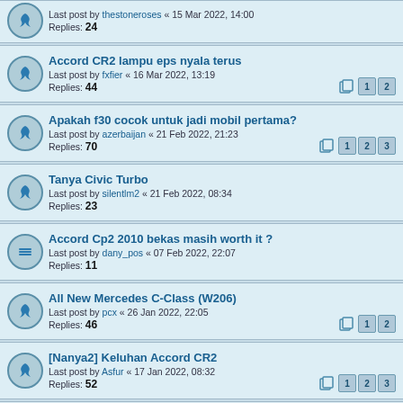Last post by thestoneroses « 15 Mar 2022, 14:00
Replies: 24
Accord CR2 lampu eps nyala terus
Last post by fxfier « 16 Mar 2022, 13:19
Replies: 44
Apakah f30 cocok untuk jadi mobil pertama?
Last post by azerbaijan « 21 Feb 2022, 21:23
Replies: 70
Tanya Civic Turbo
Last post by silentlm2 « 21 Feb 2022, 08:34
Replies: 23
Accord Cp2 2010 bekas masih worth it ?
Last post by dany_pos « 07 Feb 2022, 22:07
Replies: 11
All New Mercedes C-Class (W206)
Last post by pcx « 26 Jan 2022, 22:05
Replies: 46
[Nanya2] Keluhan Accord CR2
Last post by Asfur « 17 Jan 2022, 08:32
Replies: 52
f30 335i vs f10 535i vs w212 e400
Last post by Penikmat_Kopi « 16 Jan 2022, 09:38
Replies: 11
Mercy c200 1996
Last post by Newmember2018 « 08 Jan 2022, 01:48
Replies: 4